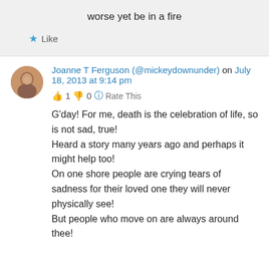worse yet be in a fire
Like
Joanne T Ferguson (@mickeydownunder) on July 18, 2013 at 9:14 pm
👍 1 👎 0 ℹ Rate This
G'day! For me, death is the celebration of life, so is not sad, true!
Heard a story many years ago and perhaps it might help too!
On one shore people are crying tears of sadness for their loved one they will never physically see!
But people who move on are always around thee!